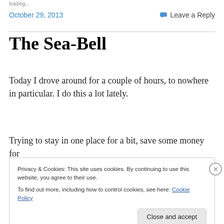loading...
October 29, 2013   Leave a Reply
The Sea-Bell
Today I drove around for a couple of hours, to nowhere in particular. I do this a lot lately.
Trying to stay in one place for a bit, save some money for
Privacy & Cookies: This site uses cookies. By continuing to use this website, you agree to their use. To find out more, including how to control cookies, see here: Cookie Policy   Close and accept